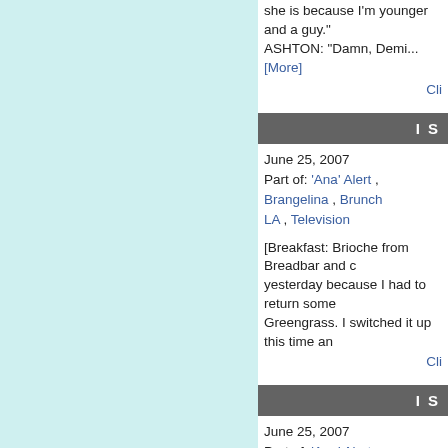she is because I'm younger and a guy. ASHTON: "Damn, Demi...[More]
Cli
I S
June 25, 2007
Part of: 'Ana' Alert , Brangelina , Brunch LA , Television
[Breakfast: Brioche from Breadbar and c yesterday because I had to return some Greengrass. I switched it up this time an
Cli
I S
June 25, 2007
Part of: 'Ana' Alert , Brangelina , Brunch LA , Television
[Breakfast: Brioche from Breadbar and c yesterday because I had to return some Greengrass. I switched it up this time an
Cli